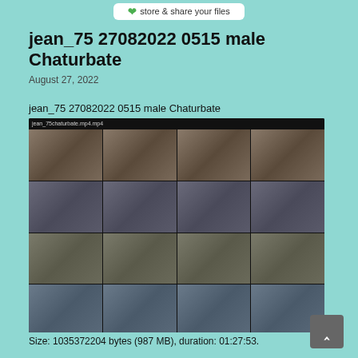[Figure (screenshot): Top navigation bar with logo showing store & share your files]
jean_75 27082022 0515 male Chaturbate
August 27, 2022
jean_75 27082022 0515 male Chaturbate
[Figure (screenshot): Video thumbnail grid showing 4x4 preview frames from a webcam recording]
Size: 1035372204 bytes (987 MB), duration: 01:27:53.